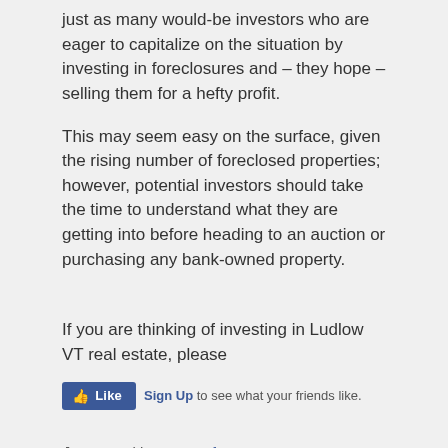just as many would-be investors who are eager to capitalize on the situation by investing in foreclosures and – they hope – selling them for a hefty profit.
This may seem easy on the surface, given the rising number of foreclosed properties; however, potential investors should take the time to understand what they are getting into before heading to an auction or purchasing any bank-owned property.
If you are thinking of investing in Ludlow VT real estate, please
[Figure (other): Facebook Like widget with 'Sign Up to see what your friends like.' text]
Posted in Buyer Info, Investment Property, Ludlow VT, Real Estate | Tagged Foreclosure, Ludlow VT | Leave a comment